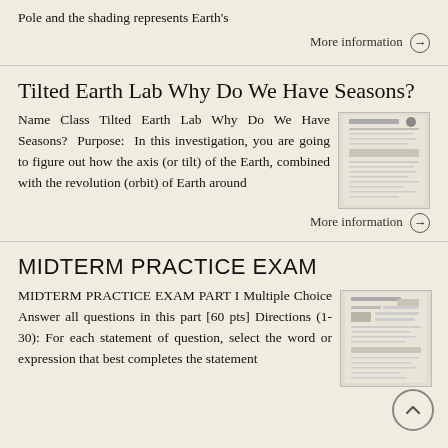Pole and the shading represents Earth's
More information →
Tilted Earth Lab Why Do We Have Seasons?
Name Class Tilted Earth Lab Why Do We Have Seasons? Purpose: In this investigation, you are going to figure out how the axis (or tilt) of the Earth, combined with the revolution (orbit) of Earth around
More information →
MIDTERM PRACTICE EXAM
MIDTERM PRACTICE EXAM PART I Multiple Choice Answer all questions in this part [60 pts] Directions (1-30): For each statement of question, select the word or expression that best completes the statement